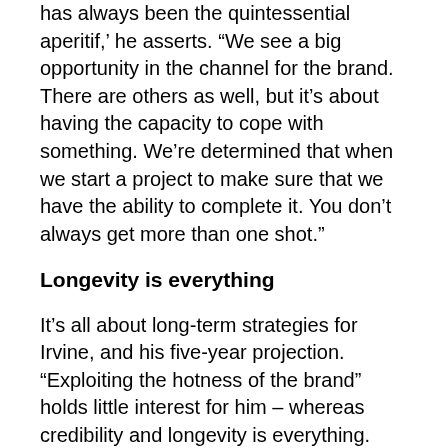has always been the quintessential aperitif,' he asserts. “We see a big opportunity in the channel for the brand. There are others as well, but it’s about having the capacity to cope with something. We’re determined that when we start a project to make sure that we have the ability to complete it. You don’t always get more than one shot.”
Longevity is everything
It’s all about long-term strategies for Irvine, and his five-year projection. “Exploiting the hotness of the brand” holds little interest for him – whereas credibility and longevity is everything. “We’re driven by ‘what do we have the capacity to do?’ rather than ‘will the brand be a success in this space?’,” Irvine explains. “We make sure we build a track record with our operating partners so they know that when they give us an opportunity, it’s